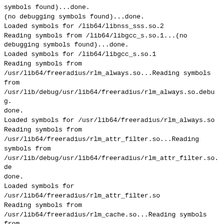symbols found)...done.
(no debugging symbols found)...done.
Loaded symbols for /lib64/libnss_sss.so.2
Reading symbols from /lib64/libgcc_s.so.1...(no debugging symbols found)...done.
Loaded symbols for /lib64/libgcc_s.so.1
Reading symbols from
/usr/lib64/freeradius/rlm_always.so...Reading symbols from
/usr/lib/debug/usr/lib64/freeradius/rlm_always.so.debug.done.
Loaded symbols for /usr/lib64/freeradius/rlm_always.so
Reading symbols from
/usr/lib64/freeradius/rlm_attr_filter.so...Reading symbols from
/usr/lib/debug/usr/lib64/freeradius/rlm_attr_filter.so.debug.done.
Loaded symbols for
/usr/lib64/freeradius/rlm_attr_filter.so
Reading symbols from
/usr/lib64/freeradius/rlm_cache.so...Reading symbols from
/usr/lib/debug/usr/lib64/freeradius/rlm_cache.so.debug...done.
Loaded symbols for /usr/lib64/freeradius/rlm_cache.so
Reading symbols from
/usr/lib64/freeradius/rlm_chap.so...Reading symbols from
/usr/lib/debug/usr/lib64/freeradius/rlm_chap.so.debug...done.
Loaded symbols for /usr/lib64/freeradius/rlm_chap.so